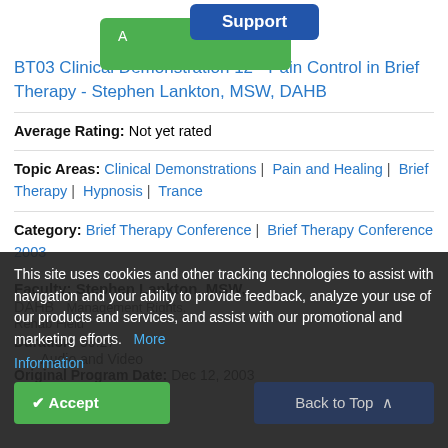[Figure (screenshot): Support button (dark blue) overlapping a green button partial text]
BT03 Clinical Demonstration 12 - Pain Control in Brief Therapy - Stephen Lankton, MSW, DAHB
Average Rating: Not yet rated
Topic Areas: Clinical Demonstrations | Pain and Healing | Brief Therapy | Hypnosis | Trance
Category: Brief Therapy Conference | Brief Therapy Conference 2003
Faculty: Stephen Lankton, MSW, DAHB (partially visible)
Duration: 59:27
Audio and Video
Original Program Date: Dec 12, 2003
This site uses cookies and other tracking technologies to assist with navigation and your ability to provide feedback, analyze your use of our products and services, and assist with our promotional and marketing efforts. More Information
Accept | Back to Top